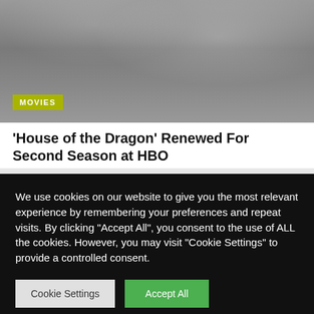[Figure (photo): Hero image showing a character with long silver/white hair in dark medieval-style clothing, likely from House of the Dragon TV show. A yellow-green 'MOVIES' badge overlays the bottom-left corner.]
‘House of the Dragon’ Renewed For Second Season at HBO
BY ADMIN ⊙ AUGUST 28, 2022
We use cookies on our website to give you the most relevant experience by remembering your preferences and repeat visits. By clicking “Accept All”, you consent to the use of ALL the cookies. However, you may visit “Cookie Settings” to provide a controlled consent.